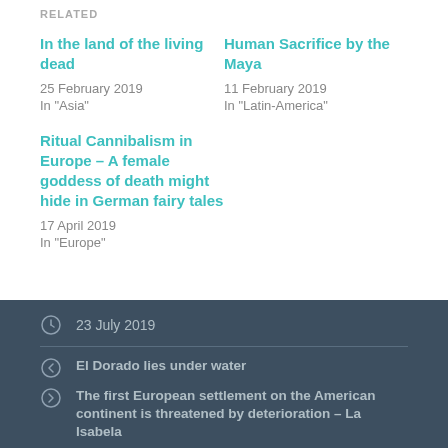RELATED
In the land of the living dead
25 February 2019
In "Asia"
Human Sacrifice by the Maya
11 February 2019
In "Latin-America"
Ritual Cannibalism in Europe – A female goddess of death might hide in German fairy tales
17 April 2019
In "Europe"
23 July 2019
El Dorado lies under water
The first European settlement on the American continent is threatened by deterioration – La Isabela